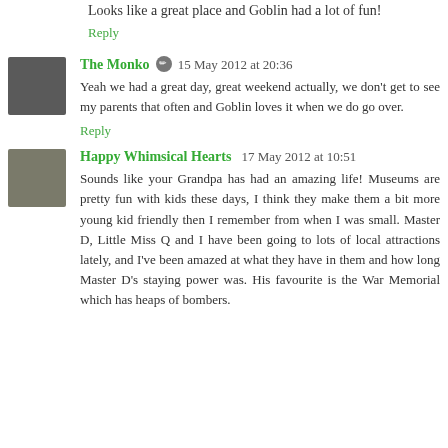Looks like a great place and Goblin had a lot of fun!
Reply
The Monko  15 May 2012 at 20:36
Yeah we had a great day, great weekend actually, we don't get to see my parents that often and Goblin loves it when we do go over.
Reply
Happy Whimsical Hearts  17 May 2012 at 10:51
Sounds like your Grandpa has had an amazing life! Museums are pretty fun with kids these days, I think they make them a bit more young kid friendly then I remember from when I was small. Master D, Little Miss Q and I have been going to lots of local attractions lately, and I've been amazed at what they have in them and how long Master D's staying power was. His favourite is the War Memorial which has heaps of bombers.